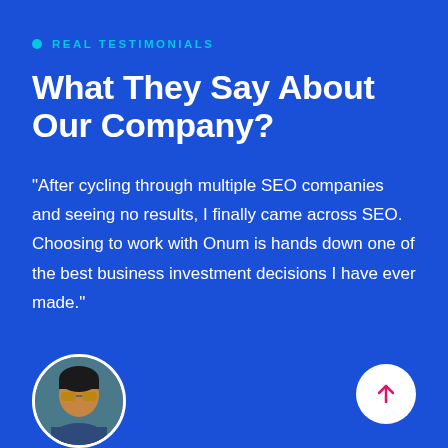REAL TESTIMONIALS
What They Say About Our Company?
“After cycling through multiple SEO companies and seeing no results, I finally came across SEO. Choosing to work with Onum is hands down one of the best business investment decisions I have ever made.”
[Figure (photo): Circular avatar photo of a person wearing sunglasses, positioned at the bottom left of the page]
[Figure (other): White circular button with a pink/magenta upward arrow icon, positioned at the bottom right]